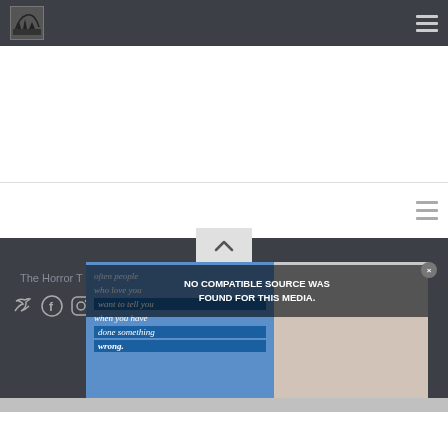The Horror Tab - website header with logo and hamburger menu
[Figure (screenshot): Website screenshot showing a horror-themed site with navigation bar, social media icons (Twitter, Facebook, Instagram, YouTube, RSS, X), a popup overlay with a media player showing NO COMPATIBLE SOURCE WAS FOUND FOR THIS MEDIA., and quote text about often people who love you tell you when you have done something wrong.]
The Horror T[ab]
NO COMPATIBLE SOURCE WAS FOUND FOR THIS MEDIA.
often people who love you want to tell you when you have done something wrong.